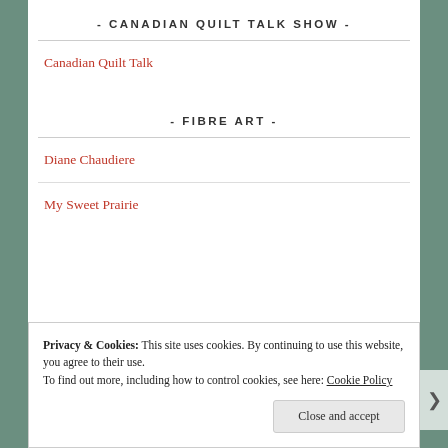- CANADIAN QUILT TALK SHOW -
Canadian Quilt Talk
- FIBRE ART -
Diane Chaudiere
My Sweet Prairie
Privacy & Cookies: This site uses cookies. By continuing to use this website, you agree to their use.
To find out more, including how to control cookies, see here: Cookie Policy
Close and accept